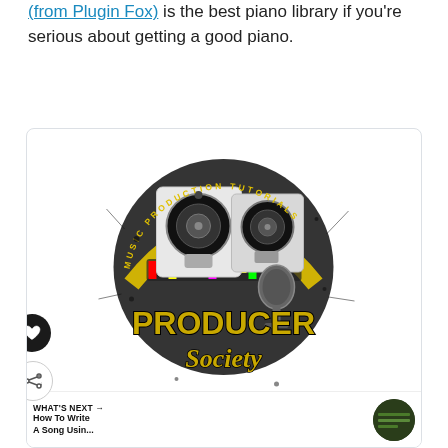(from Plugin Fox) is the best piano library if you're serious about getting a good piano.
[Figure (logo): Producer Society logo featuring two studio monitor speakers and a microphone with 'MUSIC PRODUCTION TUTORIALS' text around a circular design, and 'PRODUCER Society' text in gold/black lettering below]
WHAT'S NEXT → How To Write A Song Usin...